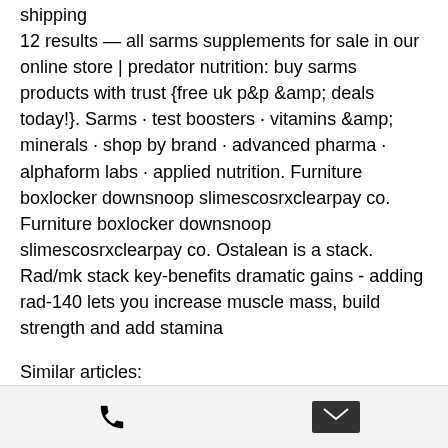shipping
12 results — all sarms supplements for sale in our online store | predator nutrition: buy sarms products with trust {free uk p&amp;p &amp; deals today!}. Sarms · test boosters · vitamins &amp; minerals · shop by brand · advanced pharma · alphaform labs · applied nutrition. Furniture boxlocker downsnoop slimescosrxclearpay co. Furniture boxlocker downsnoop slimescosrxclearpay co. Ostalean is a stack. Rad/mk stack key-benefits dramatic gains - adding rad-140 lets you increase muscle mass, build strength and add stamina
Similar articles:
https://www.eoc-nassau.org/profile/bulksports-hmb-crazy-bulk-clenbuterol-i-1887/profile
https://www.neoride.org/profile/best-...